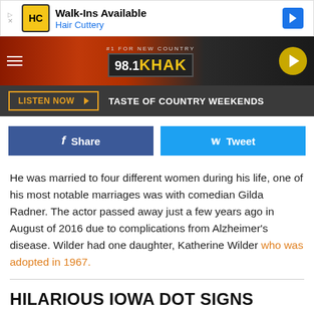[Figure (screenshot): Hair Cuttery advertisement banner with HC logo, 'Walk-Ins Available' headline, 'Hair Cuttery' subtitle, and a blue diamond navigation arrow icon]
[Figure (screenshot): 98.1 KHAK radio station header banner with '#1 For New Country' tagline, logo on dark background, hamburger menu left, play button right]
[Figure (screenshot): Dark toolbar with 'LISTEN NOW' button in orange outline and 'TASTE OF COUNTRY WEEKENDS' text in white]
[Figure (screenshot): Blue Facebook Share button and cyan Twitter Tweet button side by side]
He was married to four different women during his life, one of his most notable marriages was with comedian Gilda Radner. The actor passed away just a few years ago in August of 2016 due to complications from Alzheimer's disease. Wilder had one daughter, Katherine Wilder who was adopted in 1967.
HILARIOUS IOWA DOT SIGNS